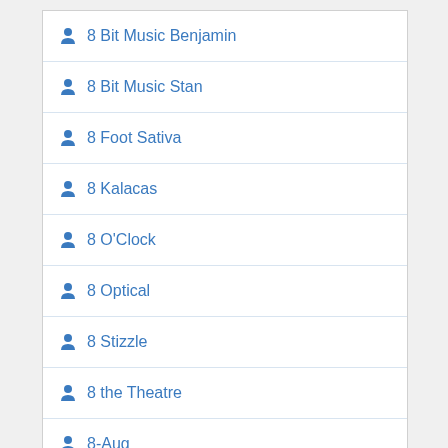8 Bit Music Benjamin
8 Bit Music Stan
8 Foot Sativa
8 Kalacas
8 O'Clock
8 Optical
8 Stizzle
8 the Theatre
8-Aug
8-Bit Misfits
8-Point Rose